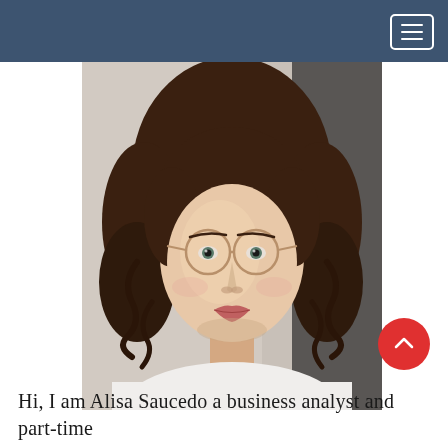[Figure (photo): Navigation bar with dark blue/slate background and hamburger menu icon (three horizontal lines) in white bordered square button at top right]
[Figure (photo): Portrait photo of a young woman with curly brown hair, round wire-framed glasses, and a white t-shirt, photographed against a blurred light/dark background in a professional headshot style]
Hi, I am Alisa Saucedo a business analyst and part-time